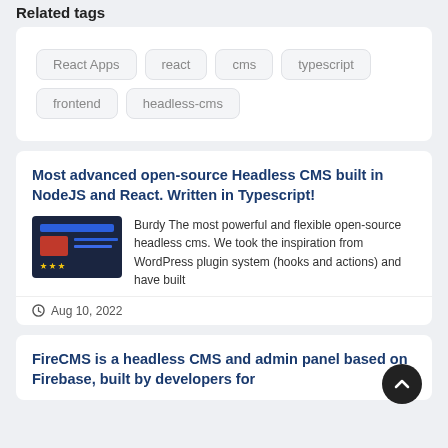Related tags
React Apps
react
cms
typescript
frontend
headless-cms
Most advanced open-source Headless CMS built in NodeJS and React. Written in Typescript!
[Figure (screenshot): Thumbnail screenshot of a dark-themed CMS dashboard with blue header bar, red logo area, star ratings, and blue content lines]
Burdy The most powerful and flexible open-source headless cms. We took the inspiration from WordPress plugin system (hooks and actions) and have built
Aug 10, 2022
FireCMS is a headless CMS and admin panel based on Firebase, built by developers for